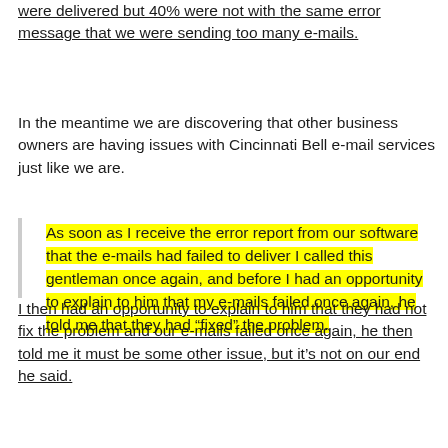were delivered but 40% were not with the same error message that we were sending too many e-mails.
In the meantime we are discovering that other business owners are having issues with Cincinnati Bell e-mail services just like we are.
As soon as I receive the error report from our software that the e-mails had failed to deliver I called this gentleman once again, and before I had an opportunity to explain to him that my e-mails failed once again, he told me that they had “fixed” the problem.
I then had an opportunity to explain to him that they had not fix the problem and our e-mails failed once again, he then told me it must be some other issue, but it’s not on our end he said.